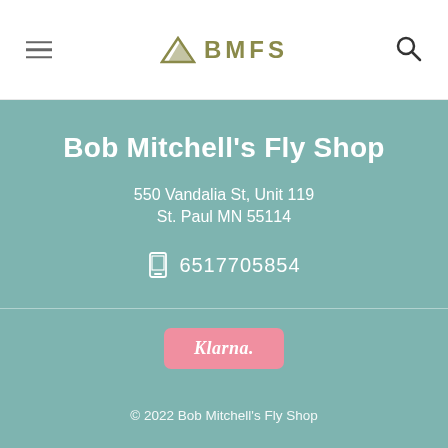BMFS
Bob Mitchell's Fly Shop
550 Vandalia St, Unit 119
St. Paul MN 55114
6517705854
[Figure (logo): Klarna payment logo button with pink rounded rectangle background]
© 2022 Bob Mitchell's Fly Shop